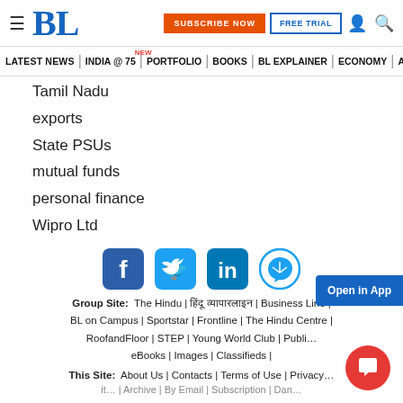BL | SUBSCRIBE NOW | FREE TRIAL
LATEST NEWS | INDIA @ 75 NEW | PORTFOLIO | BOOKS | BL EXPLAINER | ECONOMY | AGR
Tamil Nadu
exports
State PSUs
mutual funds
personal finance
Wipro Ltd
[Figure (logo): Social media icons: Facebook, Twitter, LinkedIn, Telegram]
Group Site: The Hindu | हिंदू व्यापारलाइन | Business Line | BL on Campus | Sportstar | Frontline | The Hindu Centre | RoofandFloor | STEP | Young World Club | Publi… eBooks | Images | Classifieds |
This Site: About Us | Contacts | Terms of Use | Privacy… it… | Archive | By Email | Subscription | Dan…